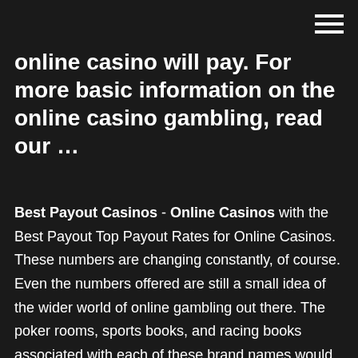[Figure (other): Hamburger menu icon (three horizontal white lines) in top-right corner]
online casino will pay. For more basic information on the online casino gambling, read our …
Best Payout Casinos - Online Casinos with the Best Payout Top Payout Rates for Online Casinos. These numbers are changing constantly, of course. Even the numbers offered are still a small idea of the wider world of online gambling out there. The poker rooms, sports books, and racing books associated with each of these brand names would likely look a … The 6 Highest Paying Online Casinos - Gambling.com Choosing an online casino is a serious business and, with the vast volume of payout statistics floating around the web, there's no excuse for not doing your homework. Pay outs at Online Casino: how do they